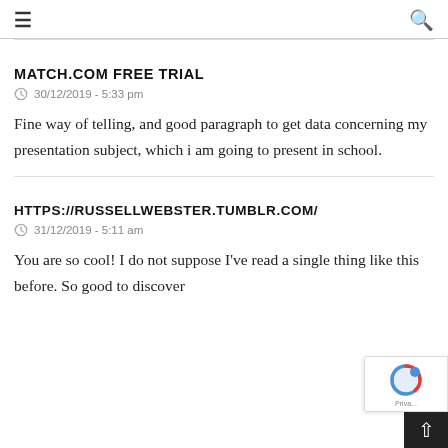☰  🔍
MATCH.COM FREE TRIAL
30/12/2019 - 5:33 pm
Fine way of telling, and good paragraph to get data concerning my presentation subject, which i am going to present in school.
HTTPS://RUSSELLWEBSTER.TUMBLR.COM/
31/12/2019 - 5:11 am
You are so cool! I do not suppose I've read a single thing like this before. So good to discover somebody with original thoughts...